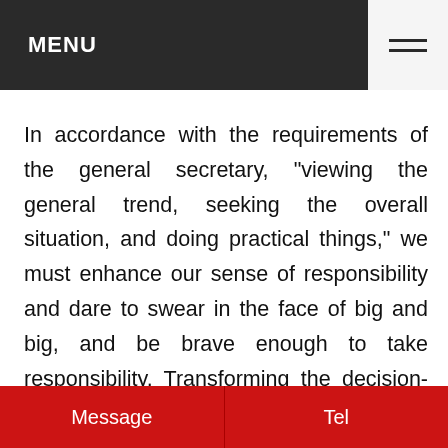MENU
In accordance with the requirements of the general secretary, "viewing the general trend, seeking the overall situation, and doing practical things," we must enhance our sense of responsibility and dare to swear in the face of big and big, and be brave enough to take responsibility. Transforming the decision-making arrangements of the Party Central Committee and the State Council into work construction drawings, in order to achieve tangible results; transfer of functions, improve efficiency, and effectively
Message   Tel